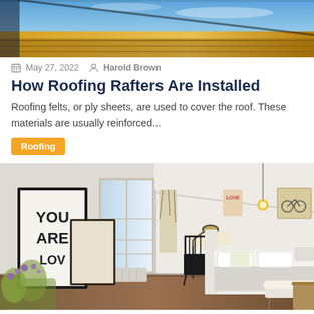[Figure (photo): Partial view of roofing structure with blue sky visible, showing roofing panels and rafters from below]
May 27, 2022  Harold Brown
How Roofing Rafters Are Installed
Roofing felts, or ply sheets, are used to cover the roof. These materials are usually reinforced...
Roofing
[Figure (photo): Interior bedroom photo with white walls, angled ceiling, white bed frame with pillows, black chair with desk lamp, framed art posters including 'You Are Loved', pendant light, decorative items, bench at foot of bed, and flowers in foreground]